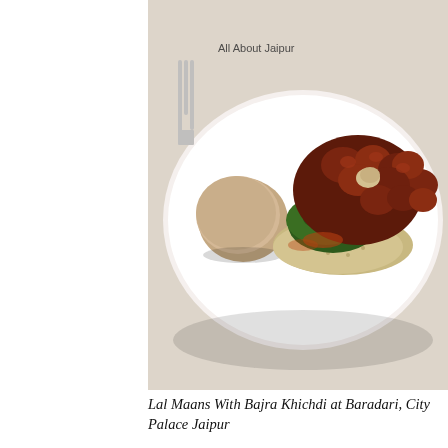[Figure (photo): A white plate with a round bajra (millet) bread roll on the left and Lal Maans (red meat curry) served over bajra khichdi with green spinach, photographed at Baradari restaurant, City Palace Jaipur. Watermark text 'All About Jaipur' visible in upper left of image.]
Lal Maans With Bajra Khichdi at Baradari, City Palace Jaipur
[Figure (photo): A close-up of a dessert bowl garnished with large red rose petals arranged like a flower. The bowl contains a pink creamy dessert. Shot in warm indoor lighting.]